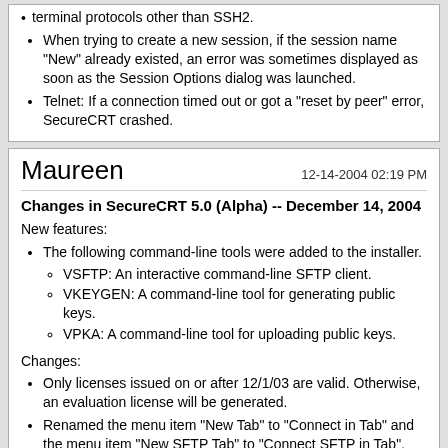When trying to create a new session, if the session name "New" already existed, an error was sometimes displayed as soon as the Session Options dialog was launched.
Telnet: If a connection timed out or got a "reset by peer" error, SecureCRT crashed.
Maureen   12-14-2004 02:19 PM
Changes in SecureCRT 5.0 (Alpha) -- December 14, 2004
New features:
The following command-line tools were added to the installer.
VSFTP: An interactive command-line SFTP client.
VKEYGEN: A command-line tool for generating public keys.
VPKA: A command-line tool for uploading public keys.
Changes:
Only licenses issued on or after 12/1/03 are valid. Otherwise, an evaluation license will be generated.
Renamed the menu item "New Tab" to "Connect in Tab" and the menu item "New SFTP Tab" to "Connect SFTP in Tab".
If a connection is closed in a tabbed session that isn't active, the system will beep and the disconnected session's tab will